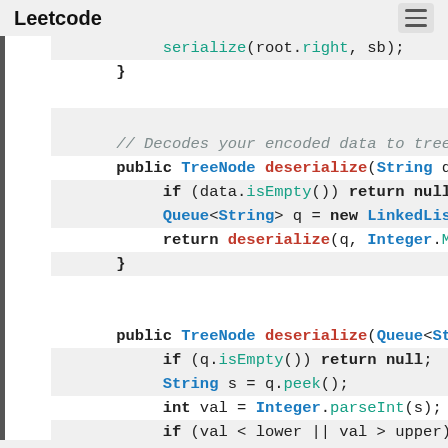Leetcode
Code snippet showing deserialize methods for a BST/tree structure in Java